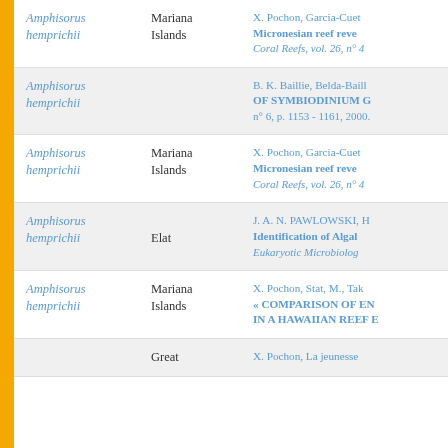| Species | Location | Reference |
| --- | --- | --- |
| Amphisorus hemprichii | Mariana Islands | X. Pochon, Garcia-Cuet... Micronesian reef reve... Coral Reefs, vol. 26, n° 4... |
| Amphisorus hemprichii |  | B. K. Baillie, Belda-Baill... OF SYMBIODINIUM G... n° 6, p. 1153 - 1161, 2000. |
| Amphisorus hemprichii | Mariana Islands | X. Pochon, Garcia-Cuet... Micronesian reef reve... Coral Reefs, vol. 26, n° 4... |
| Amphisorus hemprichii | Elat | J. A. N. PAWLOWSKI, H... Identification of Algal... Eukaryotic Microbiolog... |
| Amphisorus hemprichii | Mariana Islands | X. Pochon, Stat, M., Tak... « COMPARISON OF EN... IN A HAWAIIAN REEF E... |
|  | Great | X. Pochon, La jeunesse... |